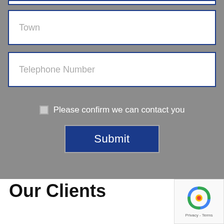Town
Telephone Number
Please confirm we can contact you
Submit
Our Clients
[Figure (logo): reCAPTCHA badge with recycling-arrow logo and Privacy - Terms text]